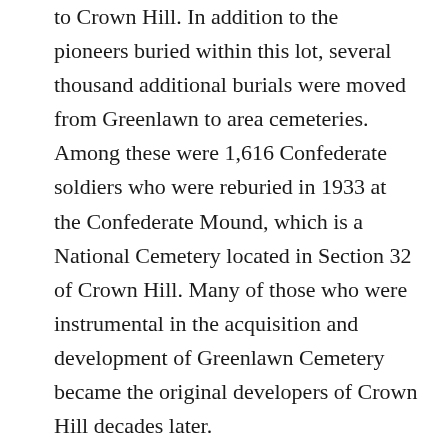to Crown Hill. In addition to the pioneers buried within this lot, several thousand additional burials were moved from Greenlawn to area cemeteries. Among these were 1,616 Confederate soldiers who were reburied in 1933 at the Confederate Mound, which is a National Cemetery located in Section 32 of Crown Hill. Many of those who were instrumental in the acquisition and development of Greenlawn Cemetery became the original developers of Crown Hill decades later.
In the summer of 1999 the Rhoads